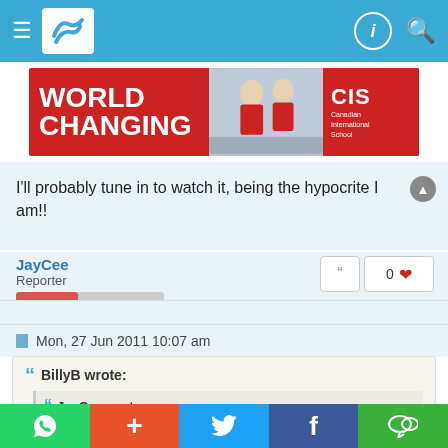[Figure (screenshot): Top navigation bar with hamburger menu, logo, and icons on blue background]
[Figure (photo): CIS Canadian International School advertisement banner: WORLD CHANGING text in white on red background with photo of students]
I'll probably tune in to watch it, being the hypocrite I am!!
JayCee
Reporter
Mon, 27 Jun 2011 10:07 am
BillyB wrote:
JayCee wrote:
Just had a look on starhub's tv guide at the programmes for the next week and found that they are indeed showing the